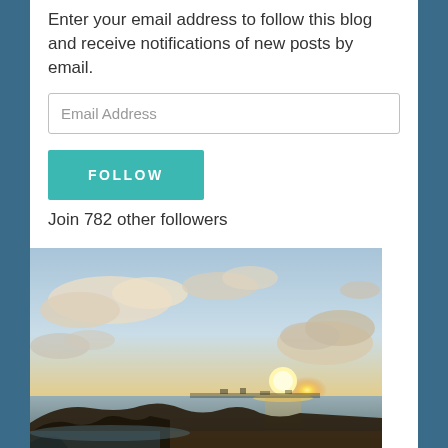Enter your email address to follow this blog and receive notifications of new posts by email.
Email Address
FOLLOW
Join 782 other followers
[Figure (photo): Outdoor sunset photo showing a bright sun setting over the ocean horizon, with dramatic clouds lit in golden and orange hues, rocky coastline in the foreground silhouette, and a wide sky with light blue and warm tones.]